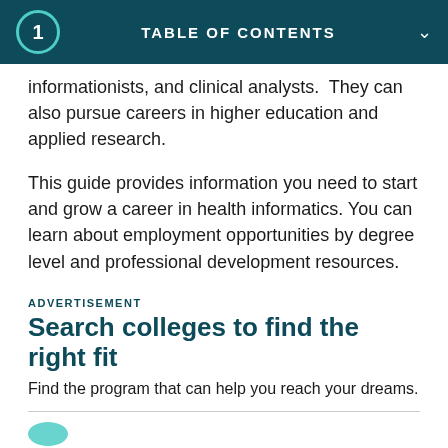1  TABLE OF CONTENTS
informationists, and clinical analysts. They can also pursue careers in higher education and applied research.
This guide provides information you need to start and grow a career in health informatics. You can learn about employment opportunities by degree level and professional development resources.
ADVERTISEMENT
Search colleges to find the right fit
Find the program that can help you reach your dreams.